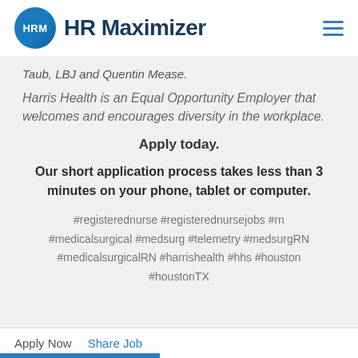HR Maximizer
Taub, LBJ and Quentin Mease.
Harris Health is an Equal Opportunity Employer that welcomes and encourages diversity in the workplace.
Apply today.
Our short application process takes less than 3 minutes on your phone, tablet or computer.
#registerednurse #registerednursejobs #rn #medicalsurgical #medsurg #telemetry #medsurgRN #medicalsurgicalRN #harrishealth #hhs #houston #houstonTX
Apply Now   Share Job